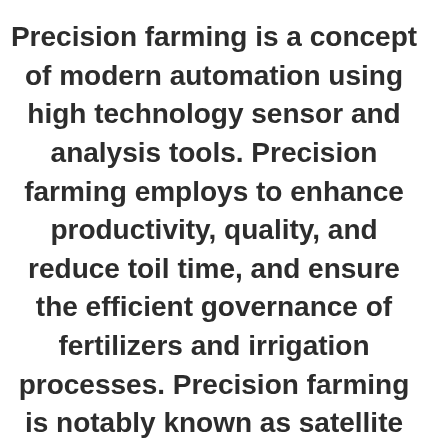Precision farming is a concept of modern automation using high technology sensor and analysis tools. Precision farming employs to enhance productivity, quality, and reduce toil time, and ensure the efficient governance of fertilizers and irrigation processes. Precision farming is notably known as satellite farming or site-specific crop management. Information, Technology, and Management are major components of precision farming. Precision